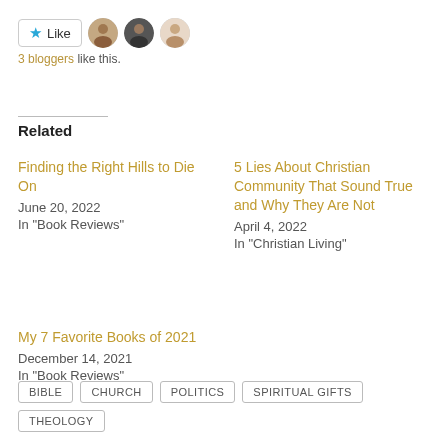[Figure (other): Like button with star icon and 3 blogger avatar thumbnails]
3 bloggers like this.
Related
Finding the Right Hills to Die On
June 20, 2022
In "Book Reviews"
5 Lies About Christian Community That Sound True and Why They Are Not
April 4, 2022
In "Christian Living"
My 7 Favorite Books of 2021
December 14, 2021
In "Book Reviews"
BIBLE
CHURCH
POLITICS
SPIRITUAL GIFTS
THEOLOGY